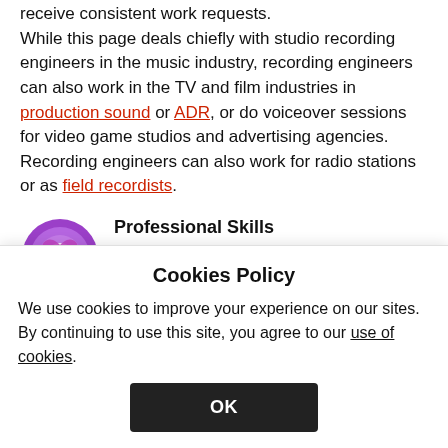receive consistent work requests. While this page deals chiefly with studio recording engineers in the music industry, recording engineers can also work in the TV and film industries in production sound or ADR, or do voiceover sessions for video game studios and advertising agencies. Recording engineers can also work for radio stations or as field recordists.
[Figure (illustration): Purple circular icon with a heart/star design inside]
Professional Skills
Music recording (hardware and software)
Cookies Policy
We use cookies to improve your experience on our sites. By continuing to use this site, you agree to our use of cookies.